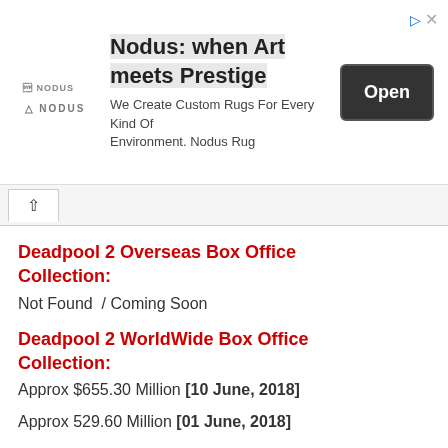[Figure (screenshot): Advertisement banner for Nodus rugs: logo on left, headline 'Nodus: when Art meets Prestige', subtext 'We Create Custom Rugs For Every Kind Of Environment. Nodus Rug', Open button on right, ad icons top right]
Deadpool 2 Overseas Box Office Collection:
Not Found  / Coming Soon
Deadpool 2 WorldWide Box Office Collection:
Approx $655.30 Million [10 June, 2018]
Approx 529.60 Million [01 June, 2018]